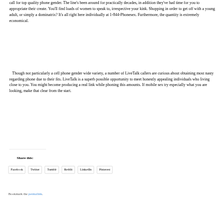call for top quality phone gender. The line's been around for practically decades, in addition they've had time for you to appropriate their create. You'll find loads of women to speak to, irrespective your kink. Shopping in order to get off with a young adult, or simply a dominatrix? It's all right here individually at 1-844-Phonesex. Furthermore, the quantity is extremely economical.
Though not particularly a cell phone gender wide variety, a number of LiveTalk callers are curious about obtaining most nasty regarding phone due to their fits. LiveTalk is a superb possible opportunity to meet honestly appealing individuals who living close to you. You might become producing a real link while phoning this amounts. If mobile sex try especially what you are looking, make that clear from the start.
Share this:
Facebook
Twitter
Tumblr
Reddit
LinkedIn
Pinterest
Bookmark the permalink.